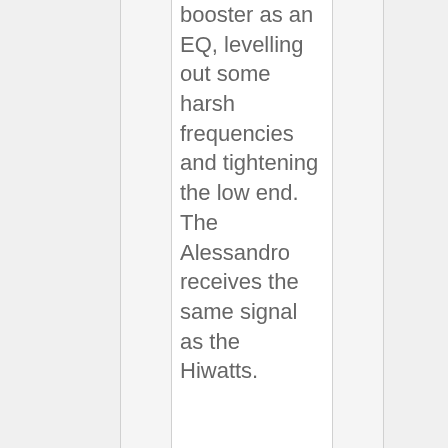booster as an EQ, levelling out some harsh frequencies and tightening the low end. The Alessandro receives the same signal as the Hiwatts.